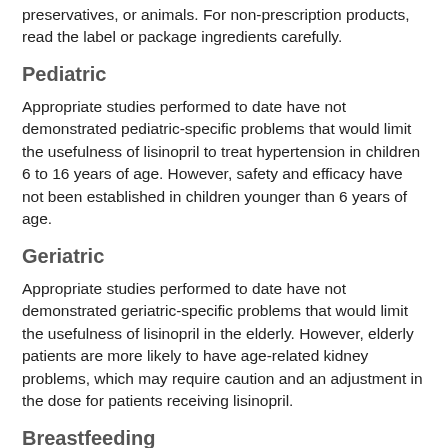preservatives, or animals. For non-prescription products, read the label or package ingredients carefully.
Pediatric
Appropriate studies performed to date have not demonstrated pediatric-specific problems that would limit the usefulness of lisinopril to treat hypertension in children 6 to 16 years of age. However, safety and efficacy have not been established in children younger than 6 years of age.
Geriatric
Appropriate studies performed to date have not demonstrated geriatric-specific problems that would limit the usefulness of lisinopril in the elderly. However, elderly patients are more likely to have age-related kidney problems, which may require caution and an adjustment in the dose for patients receiving lisinopril.
Breastfeeding